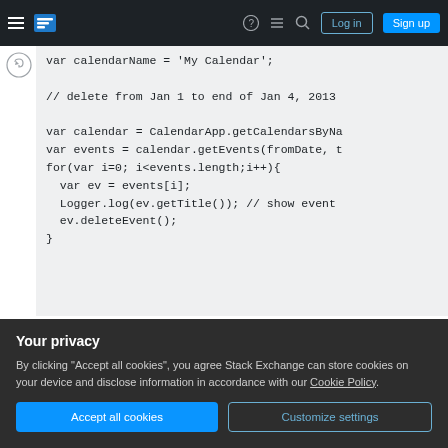Stack Exchange navigation bar with Log in and Sign up buttons
var calendarName = 'My Calendar';

// delete from Jan 1 to end of Jan 4, 2013

var calendar = CalendarApp.getCalendarsByNa
var events = calendar.getEvents(fromDate, t
for(var i=0; i<events.length;i++){
  var ev = events[i];
  Logger.log(ev.getTitle()); // show event
  ev.deleteEvent();
}
However, the problem I have is that I have around
Your privacy
By clicking "Accept all cookies", you agree Stack Exchange can store cookies on your device and disclose information in accordance with our Cookie Policy.
Accept all cookies  Customize settings